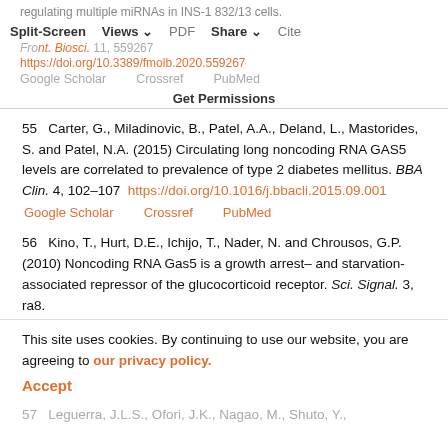regulating multiple miRNAs in INS-1 832/13 cells.
From: Front. Biosci. 11, 559267  https://doi.org/10.3389/fmolb.2020.559267  Google Scholar  Crossref  PubMed
55   Carter, G., Miladinovic, B., Patel, A.A., Deland, L., Mastorides, S. and Patel, N.A. (2015) Circulating long noncoding RNA GAS5 levels are correlated to prevalence of type 2 diabetes mellitus. BBA Clin. 4, 102–107  https://doi.org/10.1016/j.bbacli.2015.09.001  Google Scholar  Crossref  PubMed
56   Kino, T., Hurt, D.E., Ichijo, T., Nader, N. and Chrousos, G.P. (2010) Noncoding RNA Gas5 is a growth arrest– and starvation-associated repressor of the glucocorticoid receptor. Sci. Signal. 3, ra8.
This site uses cookies. By continuing to use our website, you are agreeing to our privacy policy. Accept
57   Leguerra, J.L.S., Ofori, J.K., Nagao, M., Shuto, Y.,